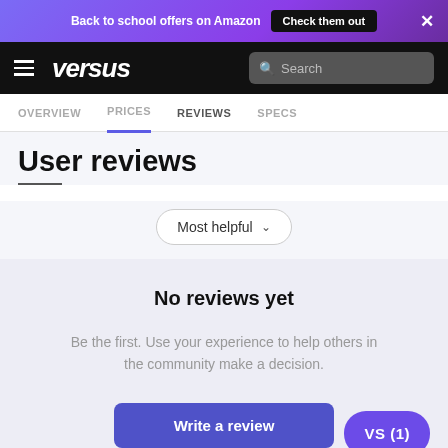Back to school offers on Amazon  Check them out  ✕
[Figure (screenshot): Versus website logo and navigation bar with hamburger menu and search box]
OVERVIEW  PRICES  REVIEWS  SPECS
User reviews
Most helpful
No reviews yet
Be the first. Use your experience to help others in the community make a decision.
Write a review